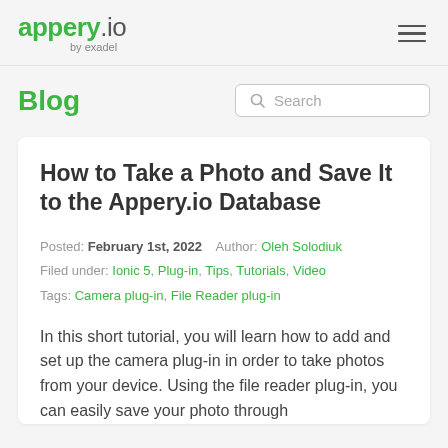appery.io by exadel
Blog
How to Take a Photo and Save It to the Appery.io Database
Posted: February 1st, 2022   Author: Oleh Solodiuk
Filed under: Ionic 5, Plug-in, Tips, Tutorials, Video
Tags: Camera plug-in, File Reader plug-in
In this short tutorial, you will learn how to add and set up the camera plug-in in order to take photos from your device. Using the file reader plug-in, you can easily save your photo through